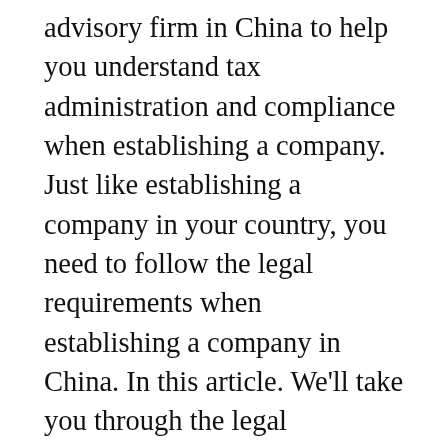advisory firm in China to help you understand tax administration and compliance when establishing a company. Just like establishing a company in your country, you need to follow the legal requirements when establishing a company in China. In this article. We'll take you through the legal requirements necessary to establish a company in China. However, if you find it challenging to get through you can seek help from a financial advisory firm in China for all the help you need. you can seek help from a financial advisory firm in China for all the help you need.